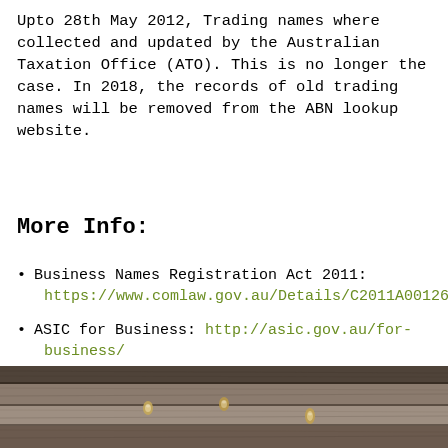Upto 28th May 2012, Trading names where collected and updated by the Australian Taxation Office (ATO). This is no longer the case. In 2018, the records of old trading names will be removed from the ABN lookup website.
More Info:
Business Names Registration Act 2011: https://www.comlaw.gov.au/Details/C2011A00126
ASIC for Business: http://asic.gov.au/for-business/
.
[Figure (photo): Photograph of a wooden surface (wood plank/wall) with visible grain and nails]